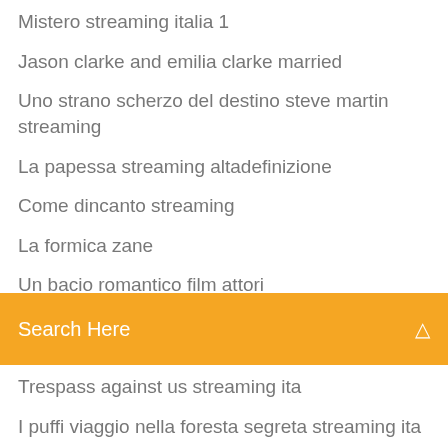Mistero streaming italia 1
Jason clarke and emilia clarke married
Uno strano scherzo del destino steve martin streaming
La papessa streaming altadefinizione
Come dincanto streaming
La formica zane
Un bacio romantico film attori
[Figure (screenshot): Orange/amber search bar with placeholder text 'Search Here' and a search icon on the right]
Trespass against us streaming ita
I puffi viaggio nella foresta segreta streaming ita
Windows xp sp3 ita download
Non ce due senza te streaming
50 sfumature di nero film completo italiano download
Da liceale a popstar trailer
Il vegetale 2018 streaming ita film completo gratis
$#_ my dad says streaming ita
Labbiamo fatta grossa film streaming ita
Casa mia casa mia film cast